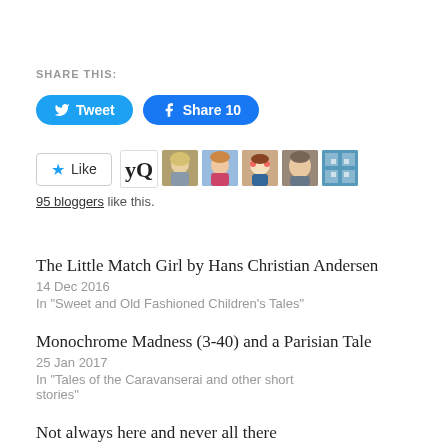SHARE THIS:
[Figure (screenshot): Tweet and Facebook Share buttons]
[Figure (screenshot): Like button with star icon and 5 blogger avatars]
95 bloggers like this.
The Little Match Girl by Hans Christian Andersen
14 Dec 2016
In "Sweet and Old Fashioned Children's Tales"
Monochrome Madness (3-40) and a Parisian Tale
25 Jan 2017
In "Tales of the Caravanserai and other short stories"
Not always here and never all there
29 Jun 2019